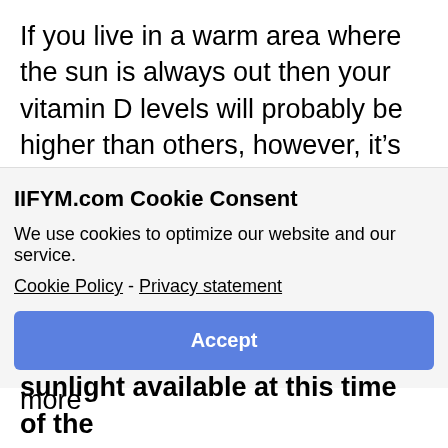If you live in a warm area where the sun is always out then your vitamin D levels will probably be higher than others, however, it's still unlikely you're getting the full recommended amount unless you're outside a lot in a bathing suit.
The winter months will pose even more
IIFYM.com Cookie Consent
We use cookies to optimize our website and our service.
Cookie Policy - Privacy statement
Accept
sunlight available at this time of the